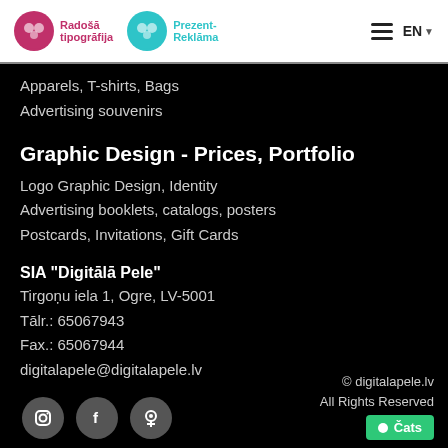Radošā tipogrāfija | Prezent-Reklāma
Apparels, T-shirts, Bags
Advertising souvenirs
Graphic Design - Prices, Portfolio
Logo Graphic Design, Identity
Advertising booklets, catalogs, posters
Postcards, Invitations, Gift Cards
SIA "Digitālā Pele"
Tirgoņu iela 1, Ogre, LV-5001
Tālr.: 65067943
Fax.: 65067944
digitalapele@digitalapele.lv
© digitalapele.lv
All Rights Reserved